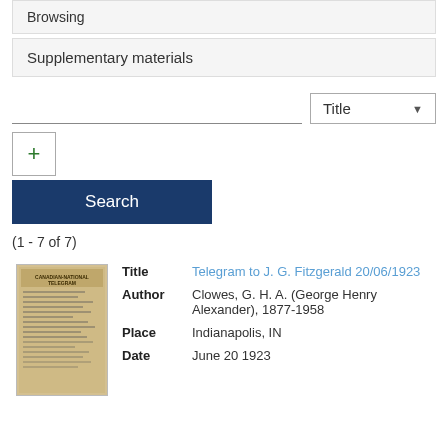Browsing
Supplementary materials
Title (dropdown)
+ (add button)
Search
(1 - 7 of 7)
[Figure (photo): Thumbnail of a telegram document with header reading CANADIAN-NATIONAL TELEGRAM]
| Field | Value |
| --- | --- |
| Title | Telegram to J. G. Fitzgerald 20/06/1923 |
| Author | Clowes, G. H. A. (George Henry Alexander), 1877-1958 |
| Place | Indianapolis, IN |
| Date | June 20 1923 |